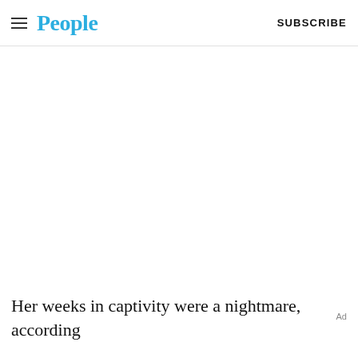People  SUBSCRIBE
Her weeks in captivity were a nightmare, according